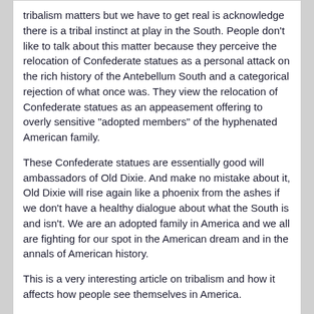tribalism matters but we have to get real is acknowledge there is a tribal instinct at play in the South. People don't like to talk about this matter because they perceive the relocation of Confederate statues as a personal attack on the rich history of the Antebellum South and a categorical rejection of what once was. They view the relocation of Confederate statues as an appeasement offering to overly sensitive "adopted members" of the hyphenated American family.

These Confederate statues are essentially good will ambassadors of Old Dixie. And make no mistake about it, Old Dixie will rise again like a phoenix from the ashes if we don't have a healthy dialogue about what the South is and isn't. We are an adopted family in America and we all are fighting for our spot in the American dream and in the annals of American history.

This is a very interesting article on tribalism and how it affects how people see themselves in America.

Source: http://www.wnd.com/2...-tribe-america/
Zelandakh
2017-November-15, 09:13